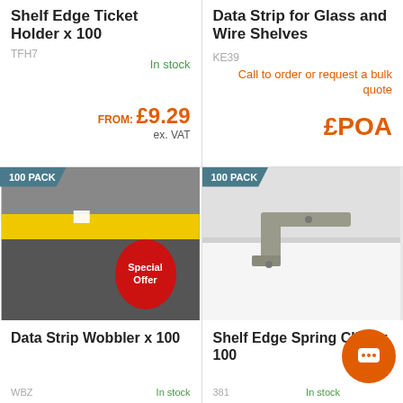Shelf Edge Ticket Holder x 100
TFH7
In stock
FROM: £9.29 ex. VAT
Data Strip for Glass and Wire Shelves
KE39
Call to order or request a bulk quote
£POA
[Figure (photo): Shelf edge data strip with yellow label and Special Offer red circular sticker overlay, 100 PACK badge]
Data Strip Wobbler x 100
WBZ
[Figure (photo): Shelf edge spring clip metal bracket on white shelf surface, 100 PACK badge]
Shelf Edge Spring Clips x 100
381